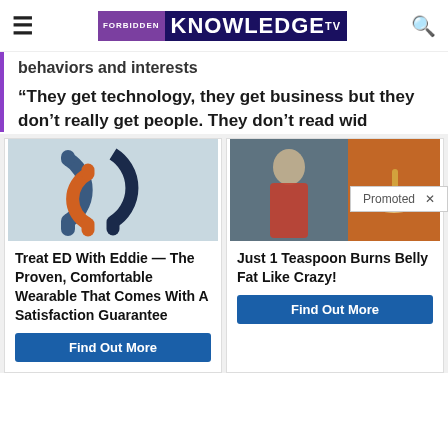FORBIDDEN KNOWLEDGE TV
behaviors and interests
“They get technology, they get business but they don’t really get people. They don’t read wid…
Promoted
[Figure (photo): Advertisement image of horseshoe shaped magnets in blue, orange, and red on a light blue background]
Treat ED With Eddie — The Proven, Comfortable Wearable That Comes With A Satisfaction Guarantee
Find Out More
[Figure (photo): Advertisement image showing a fit woman and a spoonful of spice/powder]
Just 1 Teaspoon Burns Belly Fat Like Crazy!
Find Out More